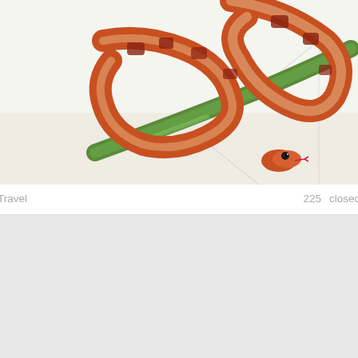[Figure (photo): A corn snake with orange-brown and white patterned scales coiled around a green moss-covered branch, photographed against a white background]
Travel    225    closed
High Resolution Corn Snake Picture 2018
[Figure (photo): Overhead flat lay of autumn spices and chestnuts on a grey stone surface, including cinnamon sticks, various nuts, dried herbs, and small glass jars with spices]